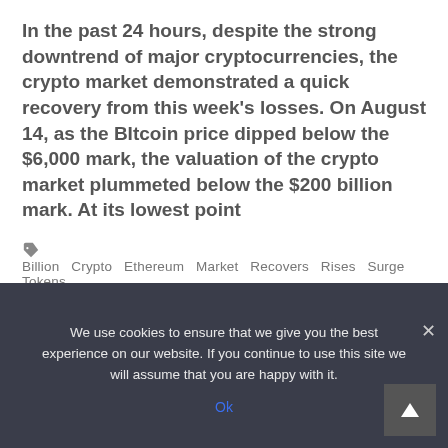In the past 24 hours, despite the strong downtrend of major cryptocurrencies, the crypto market demonstrated a quick recovery from this week's losses. On August 14, as the BItcoin price dipped below the $6,000 mark, the valuation of the crypto market plummeted below the $200 billion mark. At its lowest point
Billion  Crypto  Ethereum  Market  Recovers  Rises  Surge  Tokens
Read More
We use cookies to ensure that we give you the best experience on our website. If you continue to use this site we will assume that you are happy with it.
Ok